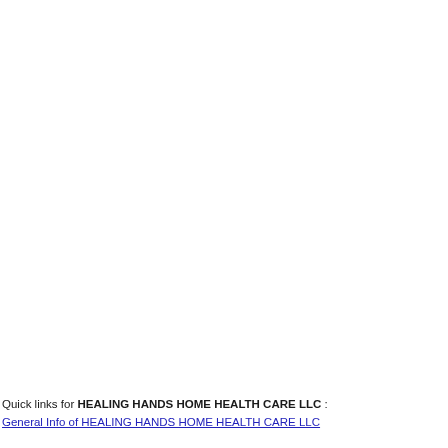Quick links for HEALING HANDS HOME HEALTH CARE LLC :
General Info of HEALING HANDS HOME HEALTH CARE LLC